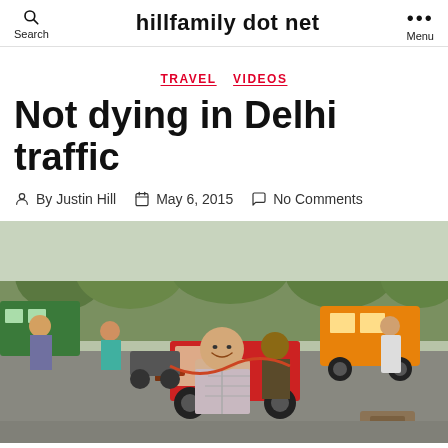hillfamily dot net  Search  Menu
TRAVEL  VIDEOS
Not dying in Delhi traffic
By Justin Hill  May 6, 2015  No Comments
[Figure (photo): Man sitting on a cycle rickshaw in busy Delhi traffic, smiling at camera, with rickshaw driver behind him. Street scene with various vehicles including motorcycles and auto-rickshaws, pedestrians, and trees in background.]